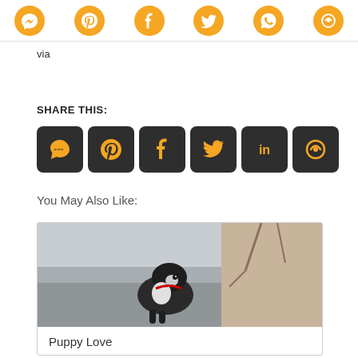Social sharing icons: Messenger, Pinterest, Facebook, Twitter, WhatsApp, Share
via
SHARE THIS:
[Figure (infographic): Six dark rounded square social share buttons: SMS, Pinterest, Facebook, Twitter, LinkedIn, Share]
You May Also Like:
[Figure (photo): Photo of a black and white puppy dog outdoors on pavement with trees in background]
Puppy Love